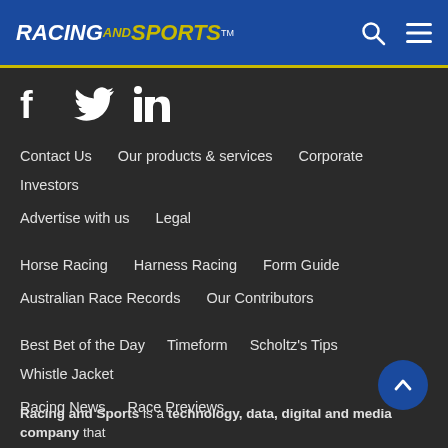RACING AND SPORTS™
[Figure (logo): Racing and Sports logo with search and menu icons on blue header bar]
Facebook, Twitter, LinkedIn social icons
Contact Us  Our products & services  Corporate  Investors
Advertise with us  Legal
Horse Racing  Harness Racing  Form Guide
Australian Race Records  Our Contributors
Best Bet of the Day  Timeform  Scholtz's Tips  Whistle Jacket
Racing News  Race Previews
Racing and Sports is a technology, data, digital and media company that